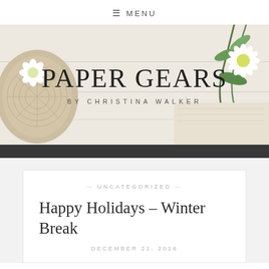≡ MENU
[Figure (photo): Blog header banner photo with wicker mat and white flowers on left, green plant stems and white daisy on right, white painted wood surface in middle, featuring blog name 'PAPER GEARS' and subtitle 'BY CHRISTINA WALKER'. Dark charcoal bar at the bottom of the banner.]
PAPER GEARS
BY CHRISTINA WALKER
— UNCATEGORIZED —
Happy Holidays – Winter Break
DECEMBER 21, 2016